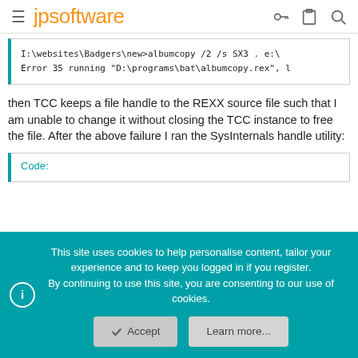jpsoftware
I:\websites\Badgers\new>albumcopy /2 /s SX3 . e:\
Error 35 running "D:\programs\bat\albumcopy.rex", l
then TCC keeps a file handle to the REXX source file such that I am unable to change it without closing the TCC instance to free the file. After the above failure I ran the SysInternals handle utility:
Code:
This site uses cookies to help personalise content, tailor your experience and to keep you logged in if you register.
By continuing to use this site, you are consenting to our use of cookies.
Accept
Learn more...